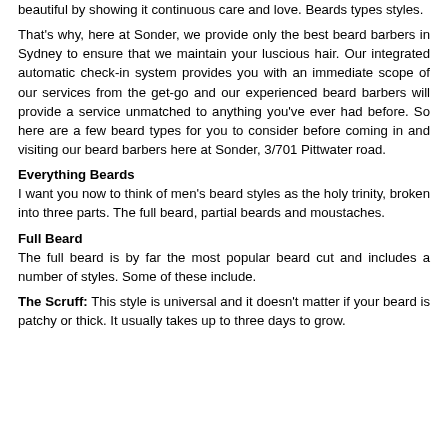beautiful by showing it continuous care and love. Beards types styles.
That's why, here at Sonder, we provide only the best beard barbers in Sydney to ensure that we maintain your luscious hair. Our integrated automatic check-in system provides you with an immediate scope of our services from the get-go and our experienced beard barbers will provide a service unmatched to anything you've ever had before. So here are a few beard types for you to consider before coming in and visiting our beard barbers here at Sonder, 3/701 Pittwater road.
Everything Beards
I want you now to think of men's beard styles as the holy trinity, broken into three parts. The full beard, partial beards and moustaches.
Full Beard
The full beard is by far the most popular beard cut and includes a number of styles. Some of these include.
The Scruff: This style is universal and it doesn't matter if your beard is patchy or thick. It usually takes up to three days to grow.